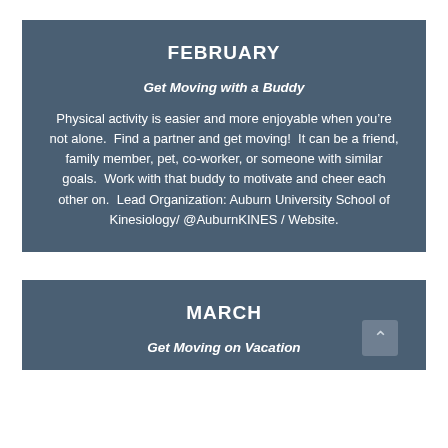FEBRUARY
Get Moving with a Buddy
Physical activity is easier and more enjoyable when you’re not alone.  Find a partner and get moving!  It can be a friend, family member, pet, co-worker, or someone with similar goals.  Work with that buddy to motivate and cheer each other on.  Lead Organization: Auburn University School of Kinesiology/ @AuburnKINES / Website.
MARCH
Get Moving on Vacation